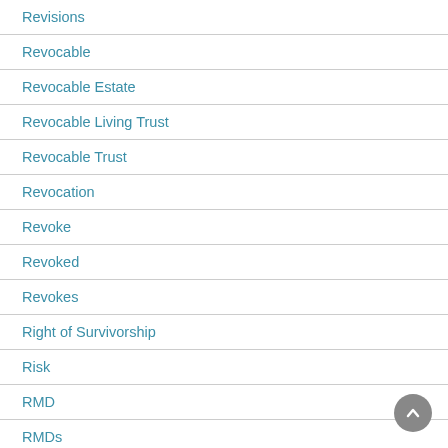Revisions
Revocable
Revocable Estate
Revocable Living Trust
Revocable Trust
Revocation
Revoke
Revoked
Revokes
Right of Survivorship
Risk
RMD
RMDs